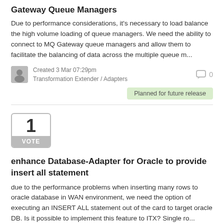Gateway Queue Managers
Due to performance considerations, it's necessary to load balance the high volume loading of queue managers. We need the ability to connect to MQ Gateway queue managers and allow them to facilitate the balancing of data across the multiple queue m...
Created 3 Mar 07:29pm
Transformation Extender / Adapters
0
Planned for future release
1 VOTE
enhance Database-Adapter for Oracle to provide insert all statement
due to the performance problems when inserting many rows to oracle database in WAN environment, we need the option of executing an INSERT ALL statement out of the card to target oracle DB. Is it possible to implement this feature to ITX? Single ro...
Created 3 Mar 09:26am
Transformation Extender / Adapters
0